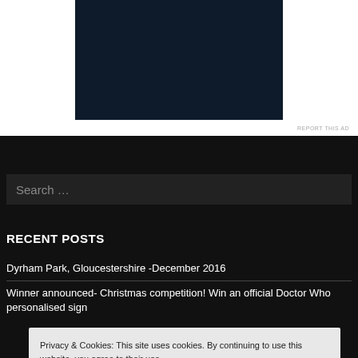[Figure (other): Dark navy/black advertisement banner image]
REPORT THIS AD
Search ...
RECENT POSTS
Dyrham Park, Gloucestershire -December 2016
Winner announced- Christmas competition! Win an official Doctor Who personalised sign
Privacy & Cookies: This site uses cookies. By continuing to use this website, you agree to their use.
To find out more, including how to control cookies, see here: Cookie Policy
Close and accept
WATCH